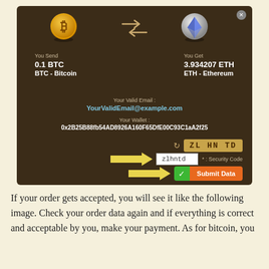[Figure (screenshot): Cryptocurrency exchange interface showing BTC to ETH conversion. Bitcoin icon on left, Ethereum icon on right with shuffle arrows between them. Shows 'You Send 0.1 BTC / BTC - Bitcoin' and 'You Get 3.934207 ETH / ETH - Ethereum'. Email field shows 'YourValidEmail@example.com', wallet address '0x2B25B88fb54AD8926A160F65DfE00C93C1aA2f25', captcha 'ZL HN TD', security code input 'zlhntd', and Submit Data button with yellow arrows pointing to input and button.]
If your order gets accepted, you will see it like the following image. Check your order data again and if everything is correct and acceptable by you, make your payment. As for bitcoin, you